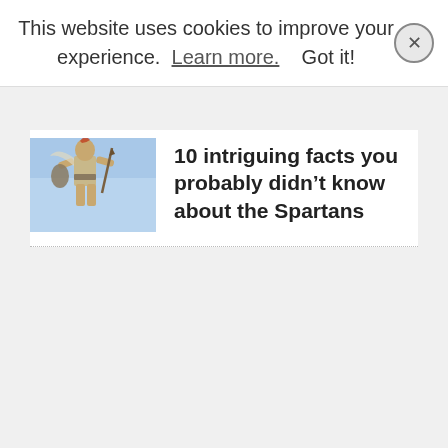This website uses cookies to improve your experience.  Learn more.   Got it!
[Figure (photo): Statue of a Spartan warrior holding a shield and spear against a blue sky background]
10 intriguing facts you probably didn't know about the Spartans